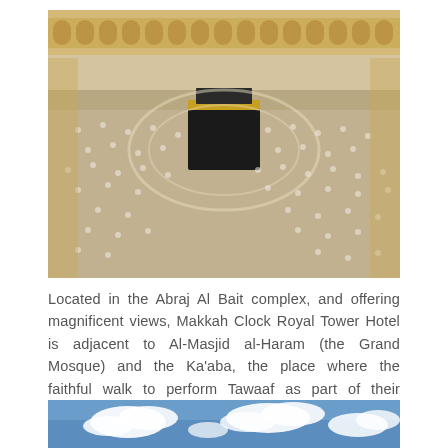[Figure (photo): Aerial view of the Kaaba at Masjid al-Haram in Mecca, surrounded by thousands of pilgrims dressed in white performing Tawaf. The Grand Mosque architecture is visible around the perimeter.]
Located in the Abraj Al Bait complex, and offering magnificent views, Makkah Clock Royal Tower Hotel is adjacent to Al-Masjid al-Haram (the Grand Mosque) and the Ka'aba, the place where the faithful walk to perform Tawaaf as part of their pilgrimages.
[Figure (photo): Blue sky with white clouds, partial view at the bottom of the page.]